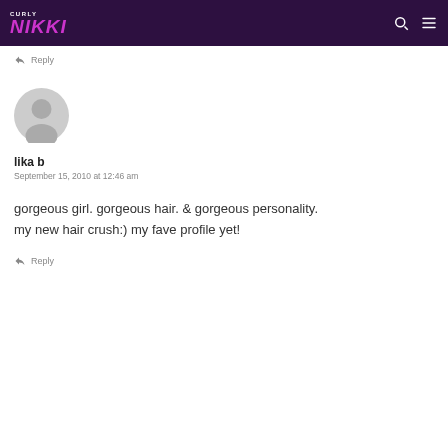Curly Nikki
Reply
[Figure (illustration): Default user avatar circle icon in grey]
lika b
September 15, 2010 at 12:46 am
gorgeous girl. gorgeous hair. & gorgeous personality. my new hair crush:) my fave profile yet!
Reply